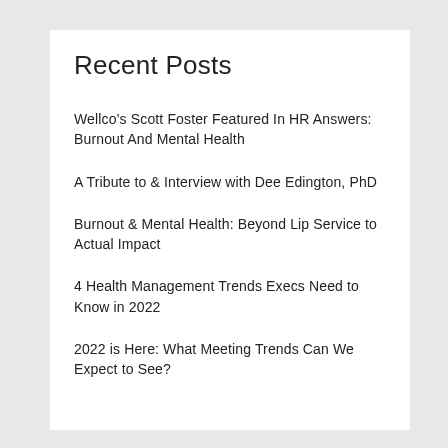Recent Posts
Wellco's Scott Foster Featured In HR Answers: Burnout And Mental Health
A Tribute to & Interview with Dee Edington, PhD
Burnout & Mental Health: Beyond Lip Service to Actual Impact
4 Health Management Trends Execs Need to Know in 2022
2022 is Here: What Meeting Trends Can We Expect to See?